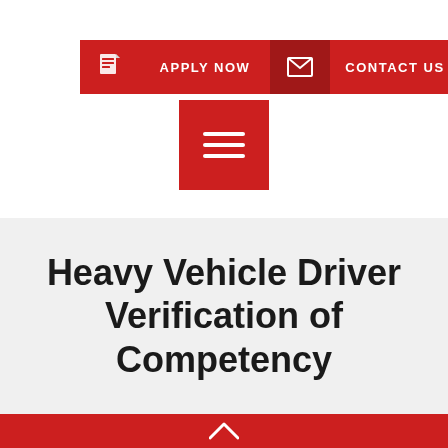[Figure (screenshot): Navigation bar with red background, document icon, APPLY NOW text, mail icon, and CONTACT US text]
[Figure (other): Red square hamburger menu button with three horizontal lines icon]
Heavy Vehicle Driver Verification of Competency
[Figure (other): Red footer bar with upward chevron arrow icon]